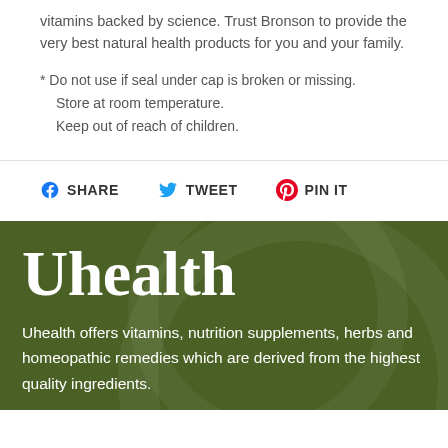vitamins backed by science. Trust Bronson to provide the very best natural health products for you and your family.
* Do not use if seal under cap is broken or missing.
  Store at room temperature.
  Keep out of reach of children.
SHARE   TWEET   PIN IT
Uhealth
Uhealth offers vitamins, nutrition supplements, herbs and homeopathic remedies which are derived from the highest quality ingredients.